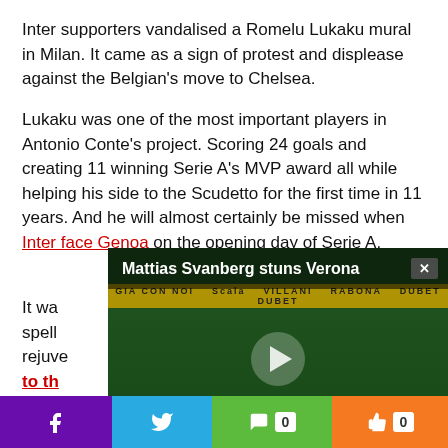Inter supporters vandalised a Romelu Lukaku mural in Milan. It came as a sign of protest and displease against the Belgian’s move to Chelsea.
Lukaku was one of the most important players in Antonio Conte’s project. Scoring 24 goals and creating 11 winning Serie A’s MVP award all while helping his side to the Scudetto for the first time in 11 years. And he will almost certainly be missed when Inter face Genoa on the opening day of Serie A.
[Figure (screenshot): Embedded video player showing a football match with title 'Mattias Svanberg stuns Verona' and a close button (x). A play button is visible in the center of the video.]
It wa... ailed spell... rejuve... ing to th... i suppe...
[Figure (infographic): Social sharing bar with Facebook (purple), Twitter (blue), Comment with count 0 (green), Like with count 0 (orange) buttons.]